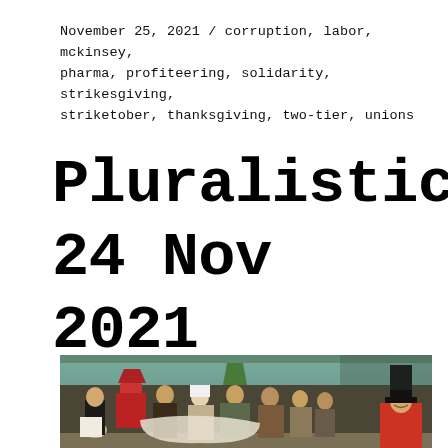November 25, 2021 / corruption, labor, mckinsey, pharma, profiteering, solidarity, strikesgiving, striketober, thanksgiving, two-tier, unions
Pluralistic: 24 Nov 2021
[Figure (photo): A medieval-style painting (Hieronymus Bosch) showing a group of figures in period clothing gathered together, with a figure on the right wearing a tall black hat and red garment, appearing to gesture or perform for the group.]